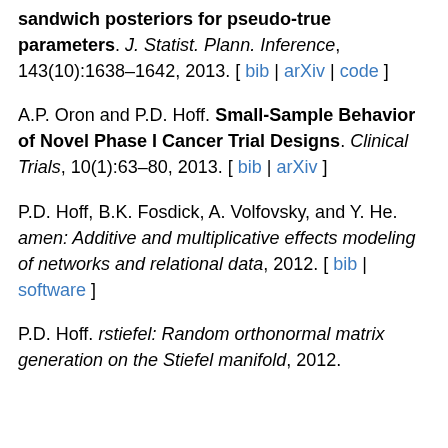A.D. Hoff and P. Wakefield. Bayesian sandwich posteriors for pseudo-true parameters. J. Statist. Plann. Inference, 143(10):1638–1642, 2013. [ bib | arXiv | code ]
A.P. Oron and P.D. Hoff. Small-Sample Behavior of Novel Phase I Cancer Trial Designs. Clinical Trials, 10(1):63–80, 2013. [ bib | arXiv ]
P.D. Hoff, B.K. Fosdick, A. Volfovsky, and Y. He. amen: Additive and multiplicative effects modeling of networks and relational data, 2012. [ bib | software ]
P.D. Hoff. rstiefel: Random orthonormal matrix generation on the Stiefel manifold, 2012.